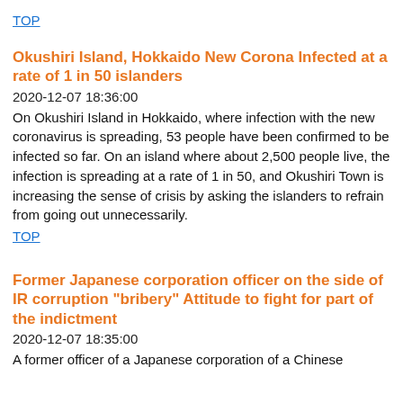TOP
Okushiri Island, Hokkaido New Corona Infected at a rate of 1 in 50 islanders
2020-12-07 18:36:00
On Okushiri Island in Hokkaido, where infection with the new coronavirus is spreading, 53 people have been confirmed to be infected so far. On an island where about 2,500 people live, the infection is spreading at a rate of 1 in 50, and Okushiri Town is increasing the sense of crisis by asking the islanders to refrain from going out unnecessarily.
TOP
Former Japanese corporation officer on the side of IR corruption "bribery" Attitude to fight for part of the indictment
2020-12-07 18:35:00
A former officer of a Japanese corporation of a Chinese